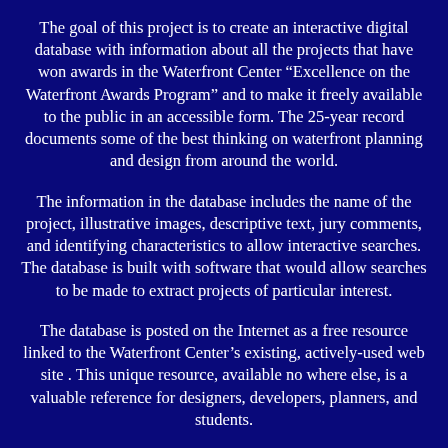The goal of this project is to create an interactive digital database with information about all the projects that have won awards in the Waterfront Center "Excellence on the Waterfront Awards Program" and to make it freely available to the public in an accessible form. The 25-year record documents some of the best thinking on waterfront planning and design from around the world.
The information in the database includes the name of the project, illustrative images, descriptive text, jury comments, and identifying characteristics to allow interactive searches. The database is built with software that would allow searches to be made to extract projects of particular interest.
The database is posted on the Internet as a free resource linked to the Waterfront Center’s existing, actively-used web site . This unique resource, available no where else, is a valuable reference for designers, developers, planners, and students.